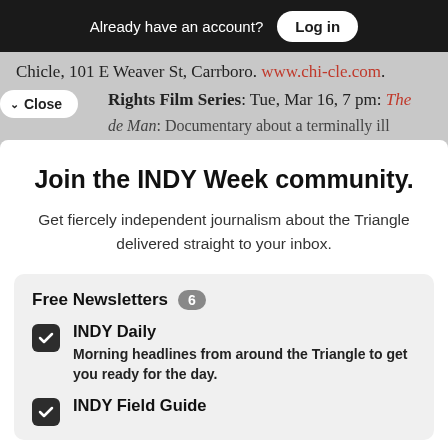Already have an account? Log in
Chicle, 101 E Weaver St, Carrboro. www.chi-cle.com.
Rights Film Series: Tue, Mar 16, 7 pm: The de Man: Documentary about a terminally ill
Join the INDY Week community.
Get fiercely independent journalism about the Triangle delivered straight to your inbox.
Free Newsletters 6
INDY Daily — Morning headlines from around the Triangle to get you ready for the day.
INDY Field Guide